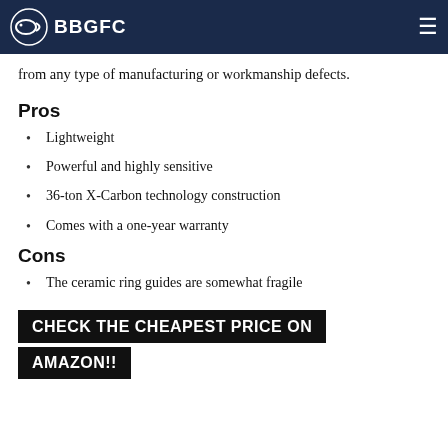BBGFC
from any type of manufacturing or workmanship defects.
Pros
Lightweight
Powerful and highly sensitive
36-ton X-Carbon technology construction
Comes with a one-year warranty
Cons
The ceramic ring guides are somewhat fragile
CHECK THE CHEAPEST PRICE ON AMAZON!!